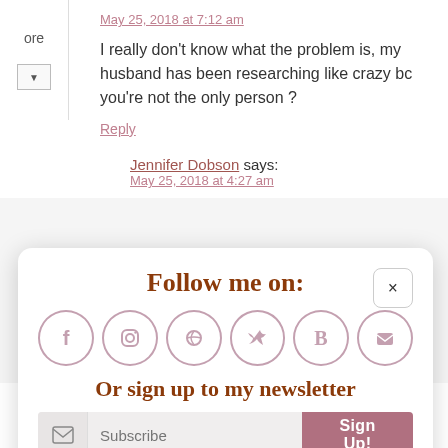May 25, 2018 at 7:12 am
I really don't know what the problem is, my husband has been researching like crazy bc you're not the only person ?
Reply
Jennifer Dobson says:
May 25, 2018 at 4:27 am
[Figure (infographic): Follow me on popup widget with social media icons (Facebook, Instagram, Pinterest, Twitter, Bloglovin, RSS) and newsletter signup with Subscribe input and Sign Up button]
never realised there was so much more to this picturesque area. I find Bavarian history quite